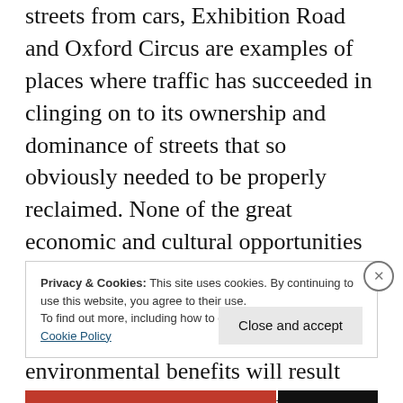streets from cars, Exhibition Road and Oxford Circus are examples of places where traffic has succeeded in clinging on to its ownership and dominance of streets that so obviously needed to be properly reclaimed. None of the great economic and cultural opportunities that Richard Rogers described have been enabled by the changes. No modal shift, no health or environmental benefits will result from them. It was built — for £30 million — but they won't come for fancy paving alone.
Privacy & Cookies: This site uses cookies. By continuing to use this website, you agree to their use.
To find out more, including how to control cookies, see here:
Cookie Policy
Close and accept